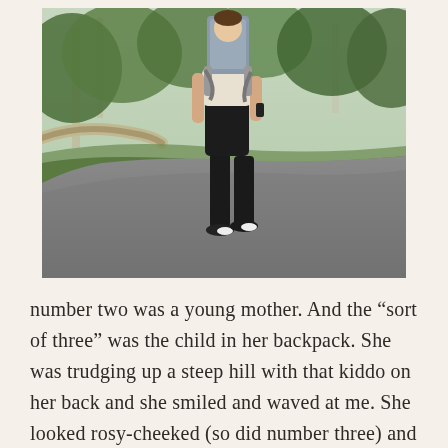[Figure (photo): A person seen from behind walking away on a paved path through a wooded area. They are wearing black leggings and sneakers, and carrying a child in a large backpack/baby carrier on their back. Trees and greenery are visible in the background.]
number two was a young mother. And the “sort of three” was the child in her backpack. She was trudging up a steep hill with that kiddo on her back and she smiled and waved at me. She looked rosy-cheeked (so did number three) and